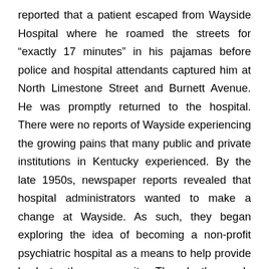reported that a patient escaped from Wayside Hospital where he roamed the streets for “exactly 17 minutes” in his pajamas before police and hospital attendants captured him at North Limestone Street and Burnett Avenue. He was promptly returned to the hospital. There were no reports of Wayside experiencing the growing pains that many public and private institutions in Kentucky experienced. By the late 1950s, newspaper reports revealed that hospital administrators wanted to make a change at Wayside. As such, they began exploring the idea of becoming a non-profit psychiatric hospital as a means to help provide back to the community. Though they only admitted patients for their first decade of existence, Wayside would eventually permit women and children to be treated as well. However, this would only be short-lived.